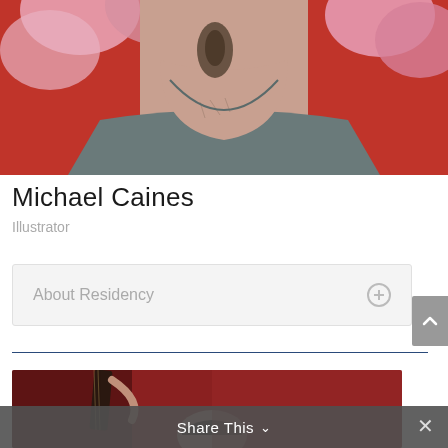[Figure (photo): Close-up photo of a person's neck and upper chest showing a tattoo, wearing a grey t-shirt, with a floral background.]
Michael Caines
Illustrator
About Residency
[Figure (photo): Photo of a person playing a stringed instrument (cello or bass) against a reddish background.]
Share This ∨